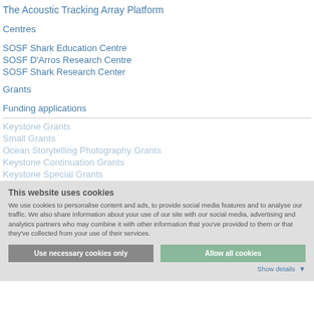The Acoustic Tracking Array Platform
Centres
SOSF Shark Education Centre
SOSF D'Arros Research Centre
SOSF Shark Research Center
Grants
Funding applications
Keystone Grants
Small Grants
Ocean Storytelling Photography Grants
Keystone Continuation Grants
Keystone Special Grants
This website uses cookies
We use cookies to personalise content and ads, to provide social media features and to analyse our traffic. We also share information about your use of our site with our social media, advertising and analytics partners who may combine it with other information that you've provided to them or that they've collected from your use of their services.
Use necessary cookies only | Allow all cookies
Show details